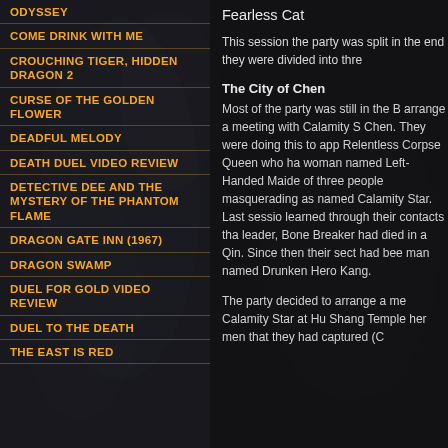ODYSSEY
COME DRINK WITH ME
CROUCHING TIGER, HIDDEN DRAGON 2
CURSE OF THE GOLDEN FLOWER
DEADFUL MELODY
DEATH DUEL VIDEO REVIEW
DETECTIVE DEE AND THE MYSTERY OF THE PHANTOM FLAME
DRAGON GATE INN (1967)
DRAGON SWAMP
DUEL FOR GOLD VIDEO REVIEW
DUEL TO THE DEATH
THE EAST IS RED
Fearless Cat
This session the party was split in the end they were divided into three
The City of Chen
Most of the party was still in the B arrange a meeting with Calamity S Chen. They were doing this to app Relentless Corpse Queen who ha woman named Left-Handed Maide of three people masquerading as named Calamity Star. Last sessio learned through their contacts tha leader, Bone Breaker had died in a Qin. Since then their sect had bee man named Drunken Hero Kang.
The party decided to arrange a me Calamity Star at Hu Shang Temple her men that they had captured (C